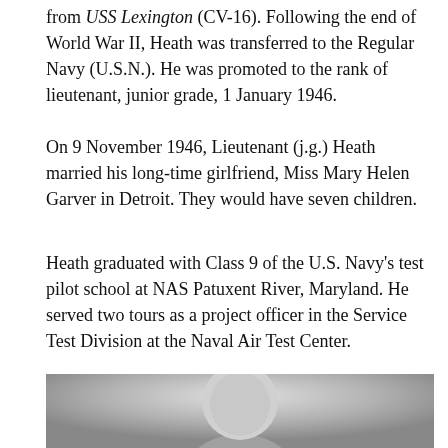from USS Lexington (CV-16). Following the end of World War II, Heath was transferred to the Regular Navy (U.S.N.). He was promoted to the rank of lieutenant, junior grade, 1 January 1946.
On 9 November 1946, Lieutenant (j.g.) Heath married his long-time girlfriend, Miss Mary Helen Garver in Detroit. They would have seven children.
Heath graduated with Class 9 of the U.S. Navy’s test pilot school at NAS Patuxent River, Maryland. He served two tours as a project officer in the Service Test Division at the Naval Air Test Center.
He was promoted to lieutenant, 5 July 1951, and to lieutenant commander, 1 November 1955.
[Figure (photo): Black and white photograph of a person, partially visible at the bottom of the page, showing the top portion of a head/portrait.]